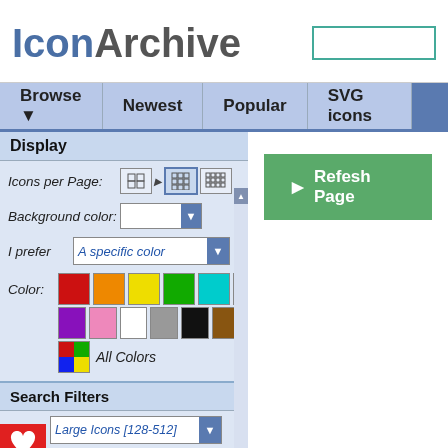IconArchive
Browse  Newest  Popular  SVG icons
Display
Icons per Page:
Background color:
I prefer  A specific color
Color:
[Figure (infographic): Color swatches: red, orange, yellow, green, cyan, blue, purple, pink, white, grey, black, brown, and All Colors]
Search Filters
Size:  Large Icons [128-512]
Category:  People
Style:  Professional
[Figure (infographic): Green Refresh Page button with play arrow icon]